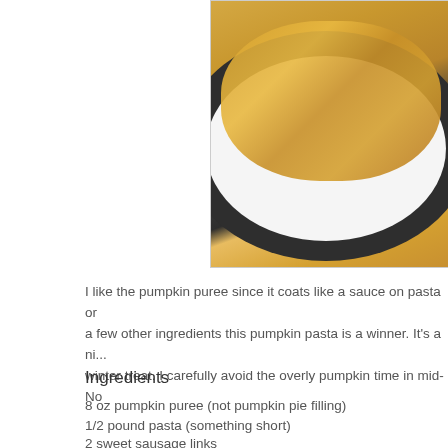[Figure (photo): A dark plate with penne pasta in orange pumpkin sauce with sausage pieces, on a wooden surface]
I like the pumpkin puree since it coats like a sauce on pasta or a few other ingredients this pumpkin pasta is a winner. It's a nice winter treat. I carefully avoid the overly pumpkin time in mid-No
Ingredients
8 oz pumpkin puree (not pumpkin pie filling)
1/2 pound pasta (something short)
2 sweet sausage links